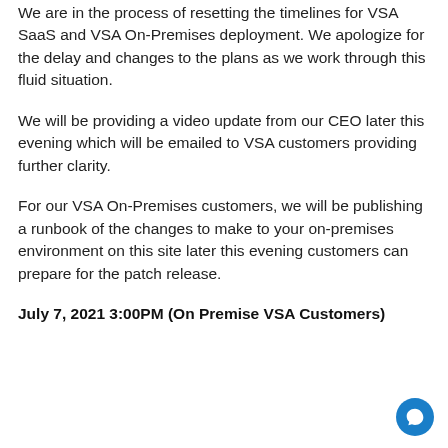We are in the process of resetting the timelines for VSA SaaS and VSA On-Premises deployment. We apologize for the delay and changes to the plans as we work through this fluid situation.
We will be providing a video update from our CEO later this evening which will be emailed to VSA customers providing further clarity.
For our VSA On-Premises customers, we will be publishing a runbook of the changes to make to your on-premises environment on this site later this evening customers can prepare for the patch release.
July 7, 2021 3:00PM (On Premise VSA Customers)